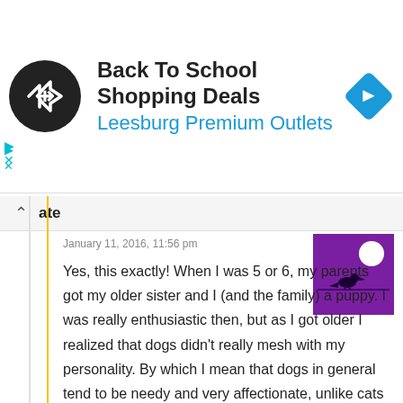[Figure (screenshot): Ad banner for Back To School Shopping Deals at Leesburg Premium Outlets, with circular black logo with white arrow icon and blue diamond navigation icon on the right]
Back To School Shopping Deals
Leesburg Premium Outlets
ate
January 11, 2016, 11:56 pm
[Figure (photo): Purple thumbnail image of a bird silhouette on a wire against a circular moon/light]
Yes, this exactly! When I was 5 or 6, my parents got my older sister and I (and the family) a puppy. I was really enthusiastic then, but as I got older I realized that dogs didn’t really mesh with my personality. By which I mean that dogs in general tend to be needy and very affectionate, unlike cats who are more independent. I loved our dog, but I didn’t like her very much, if you know what I mean. I felt absolutely awful about it. I was so guilt ridden.

I know that the dog was for my sister and my parents as well as for me, and that they were trying to do something nice, but I kind of resented them for making the choice for me. I felt really bad about admitting that I didn’t like dogs. I never said so while she was alive